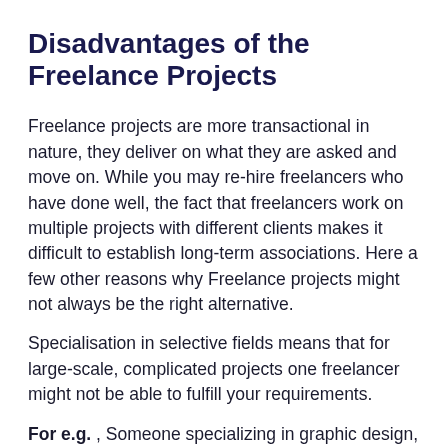Disadvantages of the Freelance Projects
Freelance projects are more transactional in nature, they deliver on what they are asked and move on. While you may re-hire freelancers who have done well, the fact that freelancers work on multiple projects with different clients makes it difficult to establish long-term associations. Here a few other reasons why Freelance projects might not always be the right alternative.
Specialisation in selective fields means that for large-scale, complicated projects one freelancer might not be able to fulfill your requirements.
For e.g. , Someone specializing in graphic design, might not be able to build a website. So multiple